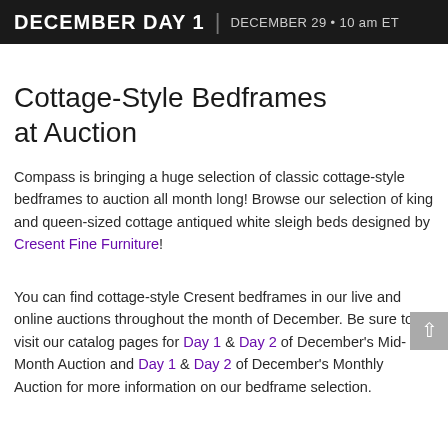DECEMBER DAY 1  |  DECEMBER 29 • 10 am ET
Cottage-Style Bedframes at Auction
Compass is bringing a huge selection of classic cottage-style bedframes to auction all month long! Browse our selection of king and queen-sized cottage antiqued white sleigh beds designed by Cresent Fine Furniture!
You can find cottage-style Cresent bedframes in our live and online auctions throughout the month of December. Be sure to visit our catalog pages for Day 1 & Day 2 of December's Mid-Month Auction and Day 1 & Day 2 of December's Monthly Auction for more information on our bedframe selection.